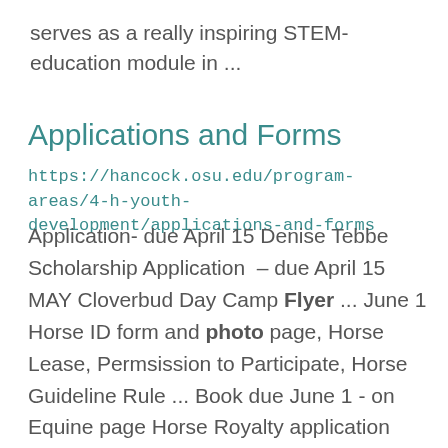serves as a really inspiring STEM-education module in ...
Applications and Forms
https://hancock.osu.edu/program-areas/4-h-youth-development/applications-and-forms
Application- due April 15 Denise Tebbe Scholarship Application  – due April 15 MAY Cloverbud Day Camp Flyer ... June 1 Horse ID form and photo page, Horse Lease, Permsission to Participate, Horse Guideline Rule ... Book due June 1 - on Equine page Horse Royalty application form, photo, & two letters of ...